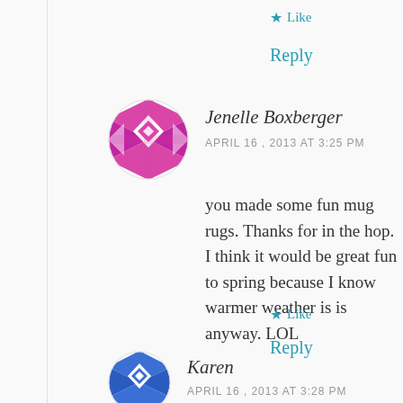★ Like
Reply
[Figure (illustration): Magenta/pink geometric quilt pattern avatar for Jenelle Boxberger]
Jenelle Boxberger
APRIL 16 , 2013 AT 3:25 PM
you made some fun mug rugs. Thanks for in the hop. I think it would be great fun to spring because I know warmer weather is is anyway. LOL
★ Like
Reply
[Figure (illustration): Blue geometric quilt pattern avatar for Karen]
Karen
APRIL 16 , 2013 AT 3:28 PM
Beautiful work! I love the flowers that p...